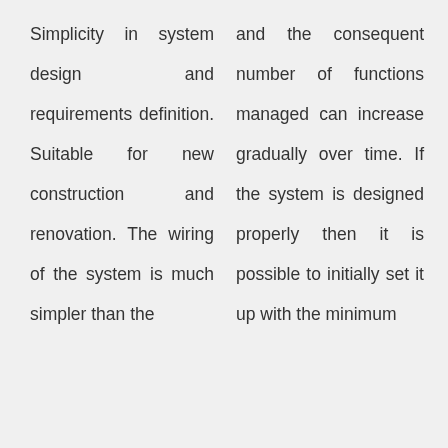Simplicity in system design and requirements definition. Suitable for new construction and renovation. The wiring of the system is much simpler than the
and the consequent number of functions managed can increase gradually over time. If the system is designed properly then it is possible to initially set it up with the minimum